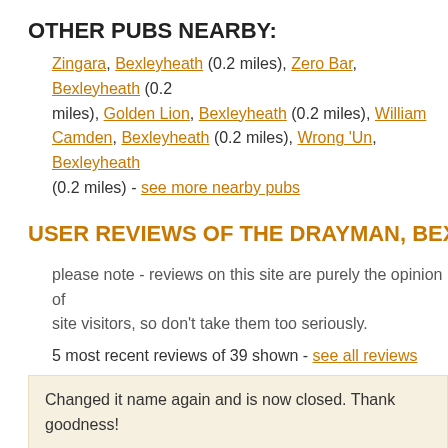OTHER PUBS NEARBY:
Zingara, Bexleyheath (0.2 miles), Zero Bar, Bexleyheath (0.2 miles), Golden Lion, Bexleyheath (0.2 miles), William Camden, Bexleyheath (0.2 miles), Wrong 'Un, Bexleyheath (0.2 miles) - see more nearby pubs
USER REVIEWS OF THE DRAYMAN, BEXLEYHEATH
please note - reviews on this site are purely the opinion of site visitors, so don't take them too seriously.
5 most recent reviews of 39 shown - see all reviews
Changed it name again and is now closed. Thank goodness!
Report this for removal   Gate - 24 Jun 2011 17:43
the sooner this place closes the better